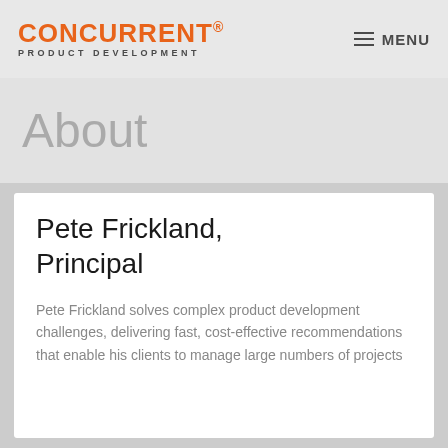CONCURRENT PRODUCT DEVELOPMENT
About
Pete Frickland, Principal
Pete Frickland solves complex product development challenges, delivering fast, cost-effective recommendations that enable his clients to manage large numbers of projects